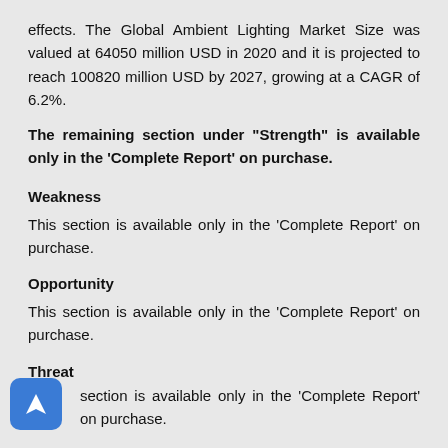effects. The Global Ambient Lighting Market Size was valued at 64050 million USD in 2020 and it is projected to reach 100820 million USD by 2027, growing at a CAGR of 6.2%.
The remaining section under "Strength" is available only in the 'Complete Report' on purchase.
Weakness
This section is available only in the 'Complete Report' on purchase.
Opportunity
This section is available only in the 'Complete Report' on purchase.
Threat
section is available only in the 'Complete Report' on purchase.